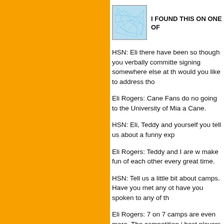[Figure (illustration): Small square logo with a light blue background and network/mesh pattern of intersecting lines]
I FOUND THIS ON ONE OF
HSN: Eli there have been so though you verbally committe signing somewhere else at th would you like to address tho
Eli Rogers: Cane Fans do no going to the University of Mia a Cane.
HSN: Eli, Teddy and yourself you tell us about a funny exp
Eli Rogers: Teddy and I are w make fun of each other every great time.
HSN: Tell us a little bit about camps. Have you met any ot have you spoken to any of th
Eli Rogers: 7 on 7 camps are even more. The competition i best players in the nation, wh